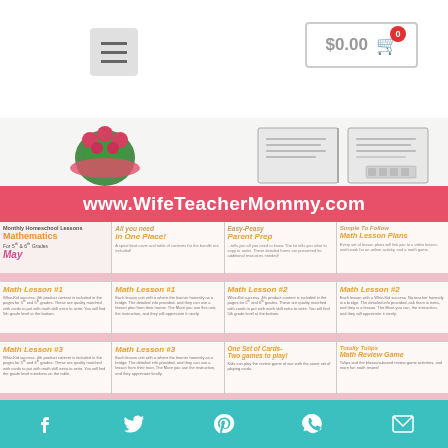$0.00 cart
[Figure (screenshot): Website screenshot showing WifeTeacherMommy.com page with navigation hamburger menu and cart showing $0.00, decorative flowers and workbook images, pink banner with site URL, and product grid showing Math Lesson resources for 5th & 6th grades including Math Lesson #1, #2, #3, One Set of Cards-Two games to play!, and Totally Tulips Math Review Game]
Share icons: Facebook, Twitter, Pinterest, WhatsApp, Email